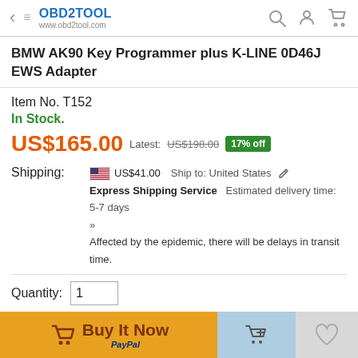OBD2TOOL www.obd2tool.com
BMW AK90 Key Programmer plus K-LINE 0D46J EWS Adapter
Item No. T152
In Stock.
US$165.00  Latest: US$198.00  17% off
Shipping: US$41.00  Ship to: United States  Express Shipping Service  Estimated delivery time: 5-7 days  Affected by the epidemic, there will be delays in transit time.
Quantity: 1
Summer Big Sales. Please click the link below:
https://m.obd2tool.com/category-194-b0-Discount+Products.html
Please bookmark our website so that you can check the order information and contact us, below is our contact information: